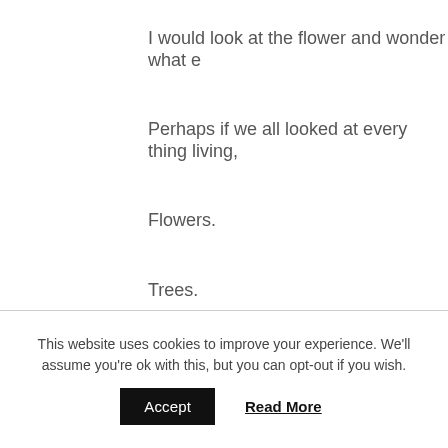I would look at the flower and wonder what e
Perhaps if we all looked at every thing living,
Flowers.
Trees.
Birds.
Butterflies.
This website uses cookies to improve your experience. We'll assume you're ok with this, but you can opt-out if you wish.
Accept  Read More